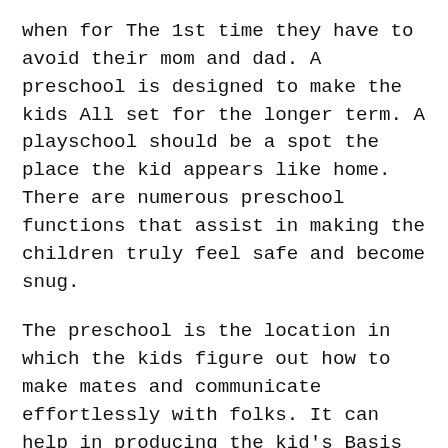when for The 1st time they have to avoid their mom and dad. A preschool is designed to make the kids All set for the longer term. A playschool should be a spot the place the kid appears like home. There are numerous preschool functions that assist in making the children truly feel safe and become snug.
The preschool is the location in which the kids figure out how to make mates and communicate effortlessly with folks. It can help in producing the kid's Basis that might help the child to succeed in lifestyle. Youngsters who may have attended preschool are viewed to obtain better self-self-confidence. The preschool Studying routines help in strengthening the kid's social ability and get well grades.